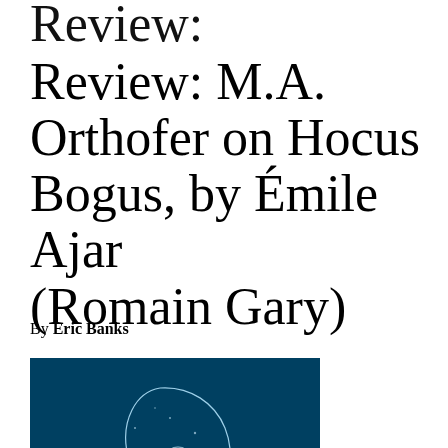Review: M.A. Orthofer on Hocus Bogus, by Émile Ajar (Romain Gary)
By Eric Banks
[Figure (photo): Book cover of Hocus Bogus by Émile Ajar (Romain Gary). Dark teal/navy background with a glowing white line-art illustration of a face in profile with hand raised near chin, pensively. Small text at bottom of cover.]